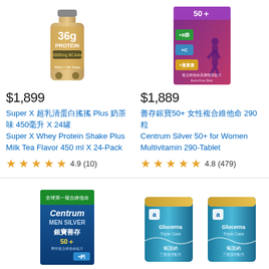[Figure (photo): Protein shake bottle with '36g PROTEIN' and '6800mg BCAAs' label, beige/tan colored bottle]
$1,899
Super X 超乳清蛋白搖搖 Plus 奶茶味 450毫升 X 24罐 Super X Whey Protein Shake Plus Milk Tea Flavor 450 ml X 24-Pack
★★★★★ 4.9 (10)
[Figure (photo): Centrum Silver 50+ for Women multivitamin box, purple/magenta colored packaging with woman silhouette]
$1,889
善存銀寶50+ 女性複合維他命 290粒 Centrum Silver 50+ for Women Multivitamin 290-Tablet
★★★★★ 4.8 (479)
[Figure (photo): Centrum Men Silver 銀寶善存 50+ multivitamin box, blue and white packaging]
[Figure (photo): Glucerna Triple Care cans, two teal/blue cans of nutritional supplement]